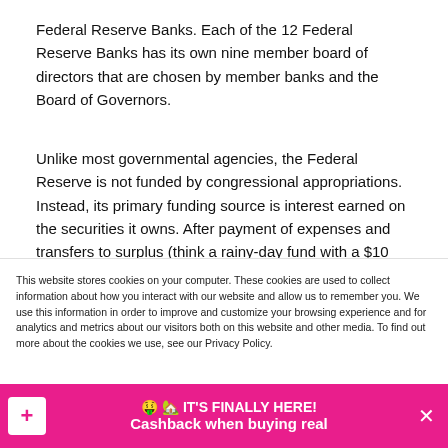Federal Reserve Banks. Each of the 12 Federal Reserve Banks has its own nine member board of directors that are chosen by member banks and the Board of Governors.
Unlike most governmental agencies, the Federal Reserve is not funded by congressional appropriations. Instead, its primary funding source is interest earned on the securities it owns. After payment of expenses and transfers to surplus (think a rainy-day fund with a $10 billion max), any
This website stores cookies on your computer. These cookies are used to collect information about how you interact with our website and allow us to remember you. We use this information in order to improve and customize your browsing experience and for analytics and metrics about our visitors both on this website and other media. To find out more about the cookies we use, see our Privacy Policy.
🤑 🏡 IT'S FINALLY HERE! Cashback when buying real